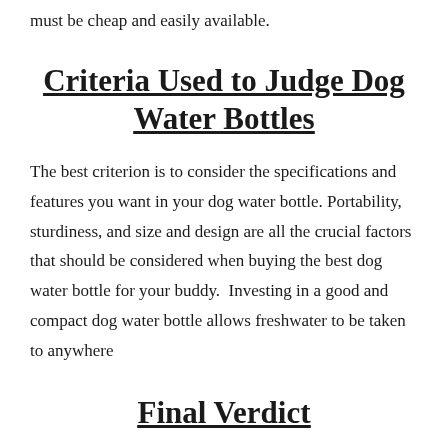must be cheap and easily available.
Criteria Used to Judge Dog Water Bottles
The best criterion is to consider the specifications and features you want in your dog water bottle. Portability, sturdiness, and size and design are all the crucial factors that should be considered when buying the best dog water bottle for your buddy.  Investing in a good and compact dog water bottle allows freshwater to be taken to anywhere
Final Verdict